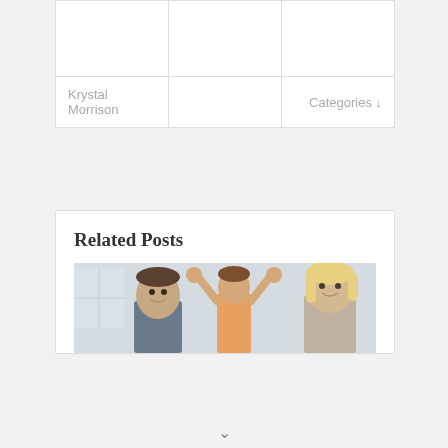|  |  |  |
| --- | --- | --- |
|  |  |  |
| Krystal Morrison |  | Categories ↓ |
Related Posts
[Figure (photo): A smiling family photo showing a man on the left, a child in the middle being lifted, and a woman with blonde hair on the right, photographed indoors.]